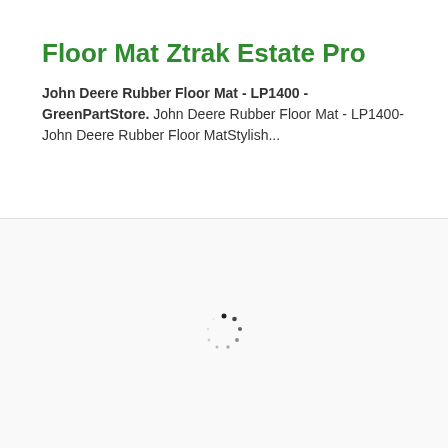Floor Mat Ztrak Estate Pro
John Deere Rubber Floor Mat - LP1400 - GreenPartStore. John Deere Rubber Floor Mat - LP1400-John Deere Rubber Floor MatStylish...
[Figure (other): Loading spinner animation (circular dot pattern indicating content loading)]